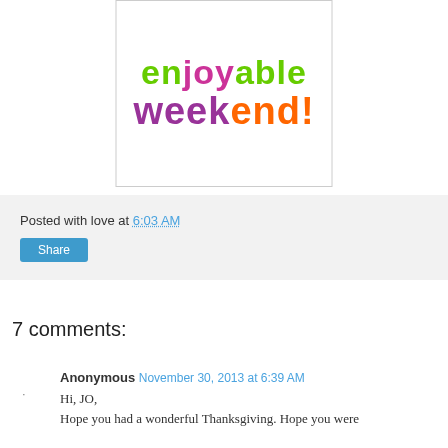[Figure (illustration): Colorful text graphic showing 'enjoyable weekend!' with 'en' and 'able' in green, 'joy' in pink/magenta, 'week' and 'k' in purple, 'end!' in orange]
Posted with love at 6:03 AM
Share
7 comments:
Anonymous November 30, 2013 at 6:39 AM
Hi, JO,
Hope you had a wonderful Thanksgiving. Hope you were